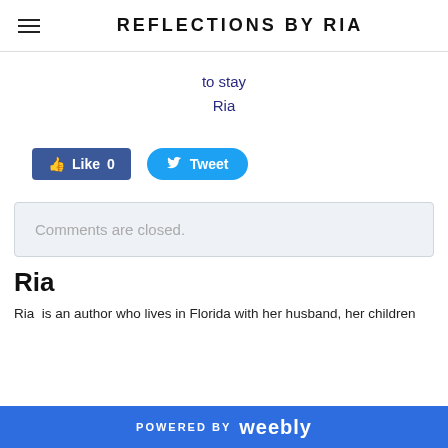REFLECTIONS BY RIA
to stay
Ria
[Figure (other): Facebook Like button with count 0 and Twitter Tweet button]
Comments are closed.
Ria
Ria  is an author who lives in Florida with her husband, her children
POWERED BY weebly